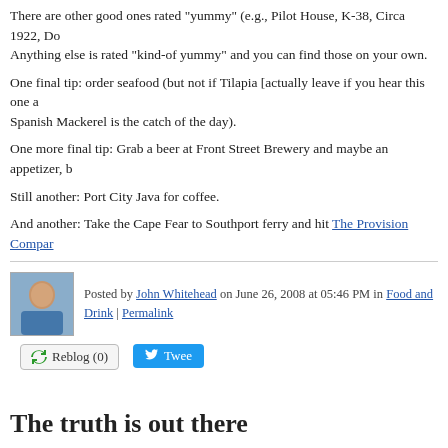There are other good ones rated "yummy" (e.g., Pilot House, K-38, Circa 1922, Do... Anything else is rated "kind-of yummy" and you can find those on your own.
One final tip: order seafood (but not if Tilapia [actually leave if you hear this one a... Spanish Mackerel is the catch of the day).
One more final tip: Grab a beer at Front Street Brewery and maybe an appetizer, b...
Still another: Port City Java for coffee.
And another: Take the Cape Fear to Southport ferry and hit The Provision Compar...
Posted by John Whitehead on June 26, 2008 at 05:46 PM in Food and Drink | Permalink
Reblog (0)  Tweet
The truth is out there
Democrats and Republicans disagree and both are wrongish ad nauseum (In Congr...
The two political parties have settled on markedly different strategies for i... gasoline prices.
Republicans want to end the 27-year ban on offshore drilling along much o... want to force companies to speed up exploration in certain offshore areas t...
The article goes on to mention that Republicans might be overstating the amount o... degrees in geology and strong profit incentives to place the wells in the correct pl...